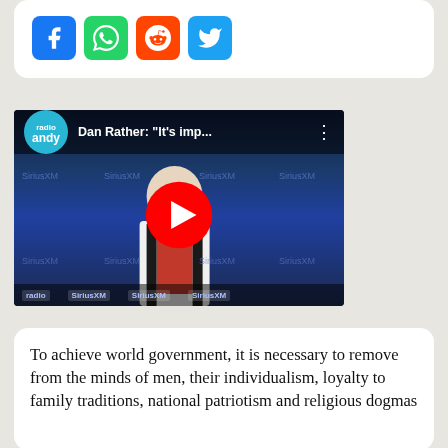[Figure (other): Social share buttons: Facebook (blue), WhatsApp (green), Reddit (orange), Twitter (light blue) icon buttons in a row]
[Figure (screenshot): YouTube video thumbnail showing Dan Rather with the title 'Dan Rather: "It's imp...' and a radio andy logo, featuring a play button overlay]
To achieve world government, it is necessary to remove from the minds of men, their individualism, loyalty to family traditions, national patriotism and religious dogmas